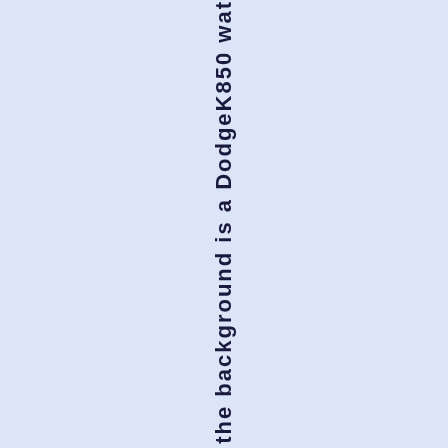in the background is a Dodge K850 wat